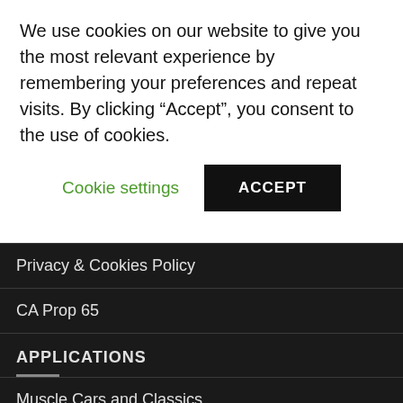We use cookies on our website to give you the most relevant experience by remembering your preferences and repeat visits. By clicking “Accept”, you consent to the use of cookies.
Cookie settings
ACCEPT
Privacy & Cookies Policy
CA Prop 65
APPLICATIONS
Muscle Cars and Classics
Street Rods and Customs
Trucks
Corvettes